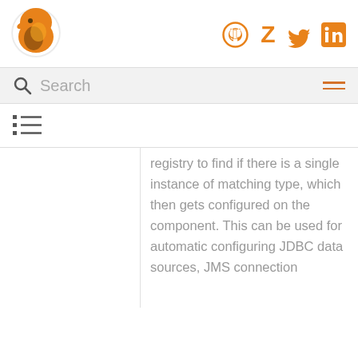[Figure (logo): Orange fox/wolf logo icon]
[Figure (infographic): Social media icons: GitHub, Zotero, Twitter, LinkedIn in orange]
[Figure (other): Search bar with magnifying glass icon and hamburger menu]
[Figure (other): Table of contents list icon]
registry to find if there is a single instance of matching type, which then gets configured on the component. This can be used for automatic configuring JDBC data sources, JMS connection